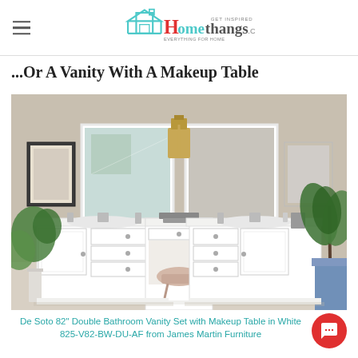Homethangs.com — GET INSPIRED EVERYTHING FOR HOME
...Or A Vanity With A Makeup Table
[Figure (photo): A large white double bathroom vanity set with a makeup table in the center, two framed mirrors above the sinks, gold wall sconce in the middle, plants on either side, pink upholstered stool in front of the makeup table, set against a warm beige wall.]
De Soto 82" Double Bathroom Vanity Set with Makeup Table in White 825-V82-BW-DU-AF from James Martin Furniture